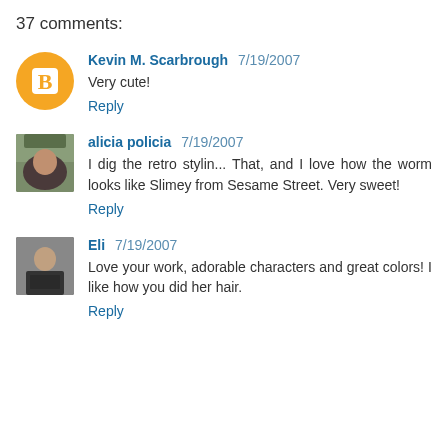37 comments:
Kevin M. Scarbrough 7/19/2007
Very cute!
Reply
alicia policia 7/19/2007
I dig the retro stylin... That, and I love how the worm looks like Slimey from Sesame Street. Very sweet!
Reply
Eli 7/19/2007
Love your work, adorable characters and great colors! I like how you did her hair.
Reply